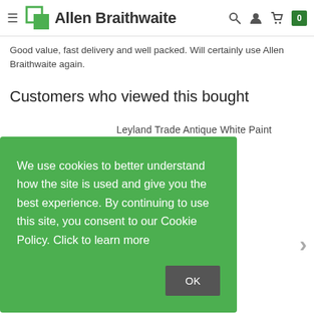Allen Braithwaite
Good value, fast delivery and well packed. Will certainly use Allen Braithwaite again.
Customers who viewed this bought
Leyland Trade Antique White Paint
We use cookies to better understand how the site is used and give you the best experience. By continuing to use this site, you consent to our Cookie Policy. Click to learn more